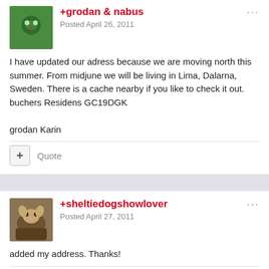[Figure (photo): Green avatar image for user grodan & nabus]
+grodan & nabus
Posted April 26, 2011
I have updated our adress because we are moving north this summer. From midjune we will be living in Lima, Dalarna, Sweden. There is a cache nearby if you like to check it out.
buchers Residens GC19DGK

grodan Karin
[Figure (photo): Dog photo avatar for user sheltiedogshowlover]
+sheltiedogshowlover
Posted April 27, 2011
added my address. Thanks!